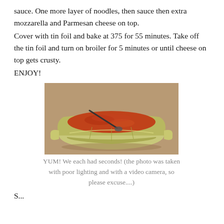sauce. One more layer of noodles, then sauce then extra mozzarella and Parmesan cheese on top.
Cover with tin foil and bake at 375 for 55 minutes. Take off the tin foil and turn on broiler for 5 minutes or until cheese on top gets crusty.
ENJOY!
[Figure (photo): A ceramic baking dish with handles containing lasagna with a spoon resting in it, photographed on a brownish background with poor lighting from a video camera.]
YUM! We each had seconds! (the photo was taken with poor lighting and with a video camera, so please excuse....)
S...